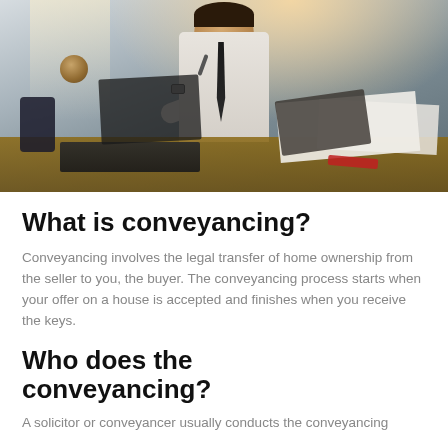[Figure (photo): Man in white shirt and tie sitting at a desk covered with papers, notebooks, and a laptop, leaning forward pensively with a pen near his chin. A globe is visible in the background near a bright window.]
What is conveyancing?
Conveyancing involves the legal transfer of home ownership from the seller to you, the buyer. The conveyancing process starts when your offer on a house is accepted and finishes when you receive the keys.
Who does the conveyancing?
A solicitor or conveyancer usually conducts the conveyancing